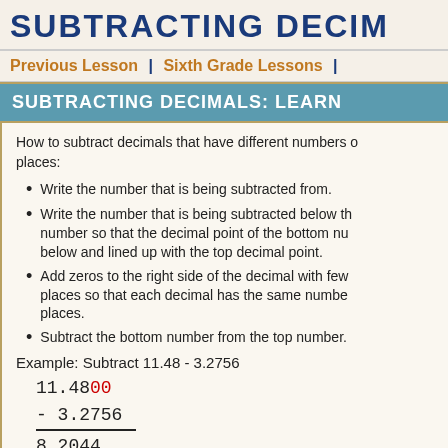SUBTRACTING DECIM...
Previous Lesson | Sixth Grade Lessons |
SUBTRACTING DECIMALS: LEARN
How to subtract decimals that have different numbers of decimal places:
Write the number that is being subtracted from.
Write the number that is being subtracted below the number so that the decimal point of the bottom number is below and lined up with the top decimal point.
Add zeros to the right side of the decimal with fewer places so that each decimal has the same number of decimal places.
Subtract the bottom number from the top number.
Example: Subtract 11.48 - 3.2756